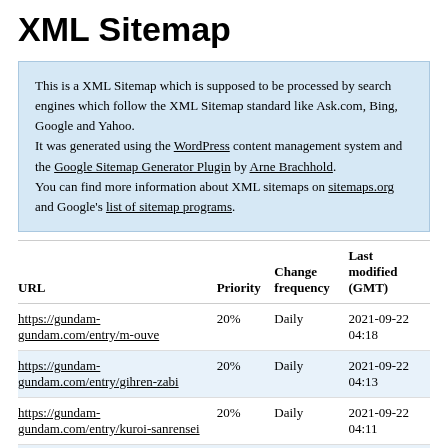XML Sitemap
This is a XML Sitemap which is supposed to be processed by search engines which follow the XML Sitemap standard like Ask.com, Bing, Google and Yahoo.
It was generated using the WordPress content management system and the Google Sitemap Generator Plugin by Arne Brachhold.
You can find more information about XML sitemaps on sitemaps.org and Google's list of sitemap programs.
| URL | Priority | Change frequency | Last modified (GMT) |
| --- | --- | --- | --- |
| https://gundam-gundam.com/entry/m-ouve | 20% | Daily | 2021-09-22 04:18 |
| https://gundam-gundam.com/entry/gihren-zabi | 20% | Daily | 2021-09-22 04:13 |
| https://gundam-gundam.com/entry/kuroi-sanrensei | 20% | Daily | 2021-09-22 04:11 |
| https://gundam-gundam.com/entry/ramba-ral | 20% | Daily | 2021-09-22 02:37 |
| https://gundam-gundam.com/entry/... | 20% | Daily | 2021-09-22 02:45 |